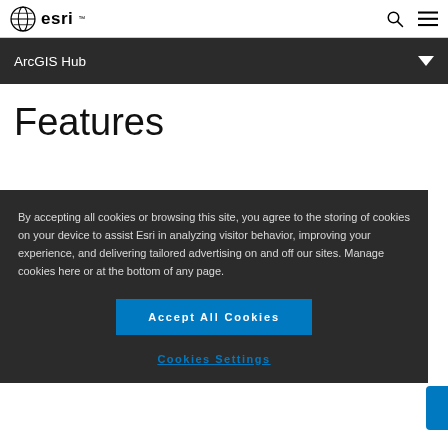esri
ArcGIS Hub
Features
By accepting all cookies or browsing this site, you agree to the storing of cookies on your device to assist Esri in analyzing visitor behavior, improving your experience, and delivering tailored advertising on and off our sites. Manage cookies here or at the bottom of any page.
Accept All Cookies
Cookies Settings